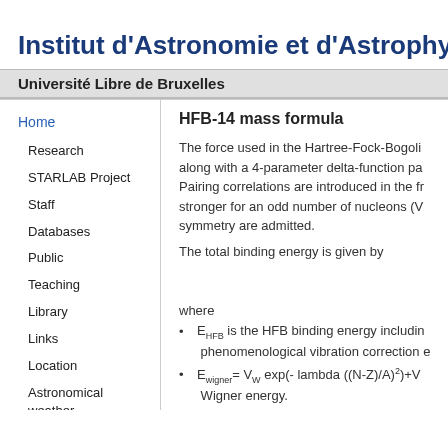Institut d'Astronomie et d'Astrophysi
Université Libre de Bruxelles
HFB-14 mass formula
The force used in the Hartree-Fock-Bogoli along with a 4-parameter delta-function pa Pairing correlations are introduced in the fr stronger for an odd number of nucleons (V symmetry are admitted.
The total binding energy is given by
where
EHFB is the HFB binding energy includi phenomenological vibration correction e
Ewigner= VW exp(- lambda ((N-Z)/A)2)+V Wigner energy.
Home
Research
STARLAB Project
Staff
Databases
Public
Teaching
Library
Links
Location
Astronomical weather forecast
Guest info